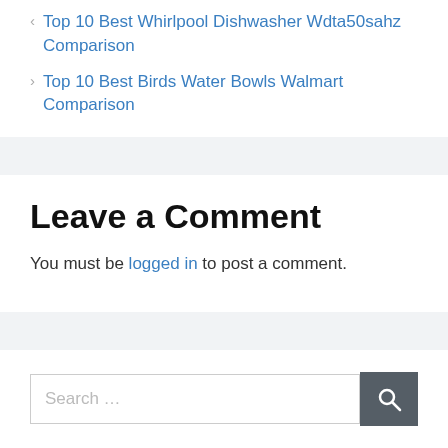‹ Top 10 Best Whirlpool Dishwasher Wdta50sahz Comparison
› Top 10 Best Birds Water Bowls Walmart Comparison
Leave a Comment
You must be logged in to post a comment.
Search …